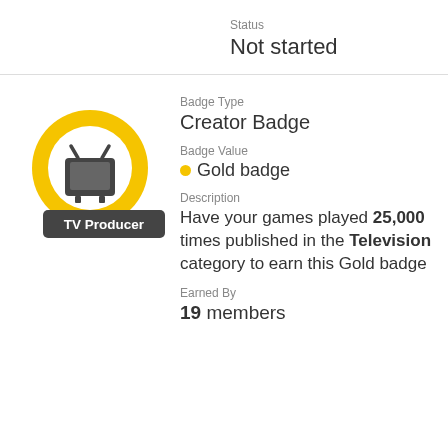Status
Not started
[Figure (illustration): TV Producer badge: yellow circular ring with a dark TV icon in the center and a dark banner label reading 'TV Producer']
Badge Type
Creator Badge
Badge Value
• Gold badge
Description
Have your games played 25,000 times published in the Television category to earn this Gold badge
Earned By
19 members